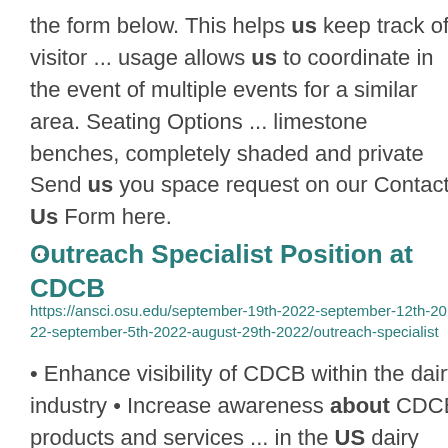the form below. This helps us keep track of visitor ... usage allows us to coordinate in the event of multiple events for a similar area. Seating Options ... limestone benches, completely shaded and private    Send us you space request on our Contact Us Form here. ...
Outreach Specialist Position at CDCB
https://ansci.osu.edu/september-19th-2022-september-12th-2022-september-5th-2022-august-29th-2022/outreach-specialist
• Enhance visibility of CDCB within the dairy industry • Increase awareness about CDCB products and services ... in the US dairy